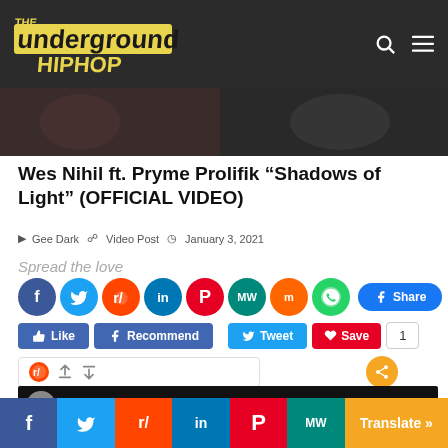The Underground Hip Hop
[Figure (screenshot): Partial video thumbnail showing tattooed person and another person in dark setting]
Wes Nihil ft. Pryme Prolifik “Shadows of Light” (OFFICIAL VIDEO)
Gee Dark   Video Post   January 3, 2021
Spread the love
[Figure (screenshot): Social media share buttons: Facebook, Twitter, Reddit, LinkedIn, Pinterest, MeWe, Mix, WhatsApp icons and Share button]
[Figure (screenshot): Social action buttons: Like, Recommend, Tweet, Save, count 1, and share button row]
[Figure (screenshot): Reddit widget row with upvote/downvote and share button]
[Figure (screenshot): Partial video player thumbnail with avatar]
Facebook Twitter Reddit LinkedIn Pinterest MeWe Translate »